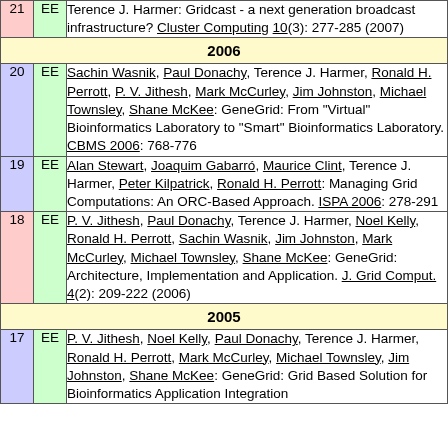| # | EE | Reference |
| --- | --- | --- |
| 21 | EE | Terence J. Harmer: Gridcast - a next generation broadcast infrastructure? Cluster Computing 10(3): 277-285 (2007) |
| 2006 |  |  |
| 20 | EE | Sachin Wasnik, Paul Donachy, Terence J. Harmer, Ronald H. Perrott, P. V. Jithesh, Mark McCurley, Jim Johnston, Michael Townsley, Shane McKee: GeneGrid: From "Virtual" Bioinformatics Laboratory to "Smart" Bioinformatics Laboratory. CBMS 2006: 768-776 |
| 19 | EE | Alan Stewart, Joaquim Gabarró, Maurice Clint, Terence J. Harmer, Peter Kilpatrick, Ronald H. Perrott: Managing Grid Computations: An ORC-Based Approach. ISPA 2006: 278-291 |
| 18 | EE | P. V. Jithesh, Paul Donachy, Terence J. Harmer, Noel Kelly, Ronald H. Perrott, Sachin Wasnik, Jim Johnston, Mark McCurley, Michael Townsley, Shane McKee: GeneGrid: Architecture, Implementation and Application. J. Grid Comput. 4(2): 209-222 (2006) |
| 2005 |  |  |
| 17 | EE | P. V. Jithesh, Noel Kelly, Paul Donachy, Terence J. Harmer, Ronald H. Perrott, Mark McCurley, Michael Townsley, Jim Johnston, Shane McKee: GeneGrid: Grid Based Solution for Bioinformatics Application Integration |